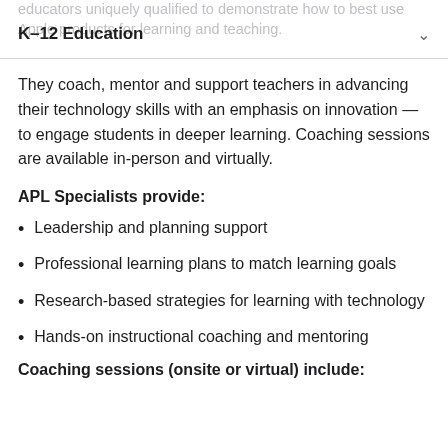K–12 Education
They coach, mentor and support teachers in advancing their technology skills with an emphasis on innovation — to engage students in deeper learning. Coaching sessions are available in-person and virtually.
APL Specialists provide:
Leadership and planning support
Professional learning plans to match learning goals
Research-based strategies for learning with technology
Hands-on instructional coaching and mentoring
Coaching sessions (onsite or virtual) include: